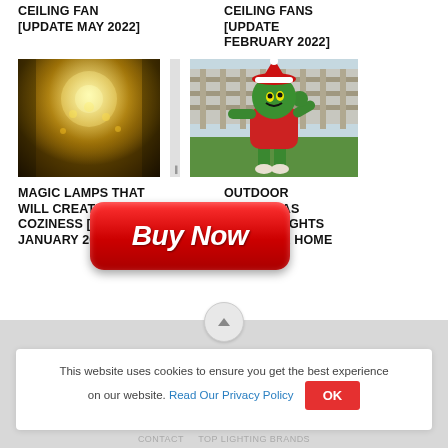CEILING FAN [UPDATE MAY 2022]
CEILING FANS [UPDATE FEBRUARY 2022]
[Figure (photo): Warm golden glowing magic lamp / lights photo]
[Figure (photo): Outdoor Grinch Christmas decoration figure in red and green costume waving, standing on grass]
MAGIC LAMPS THAT WILL CREATE COZINESS [UPDATE JANUARY 2022]
[Figure (other): Red Buy Now button overlay]
OUTDOOR CHRISTMAS GRINCH LIGHTS FOR YOUR HOME
This website uses cookies to ensure you get the best experience on our website. Read Our Privacy Policy
OK
CONTACT   TOP LIGHTING BRANDS